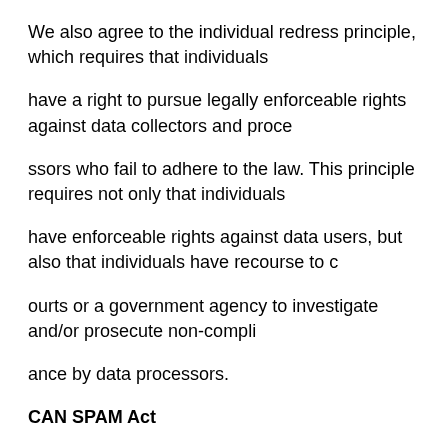We also agree to the individual redress principle, which requires that individuals
have a right to pursue legally enforceable rights against data collectors and proce
ssors who fail to adhere to the law. This principle requires not only that individuals
have enforceable rights against data users, but also that individuals have recourse to c
ourts or a government agency to investigate and/or prosecute non-compli
ance by data processors.
CAN SPAM Act
The CAN-SPAM Act is a law that sets the rules for